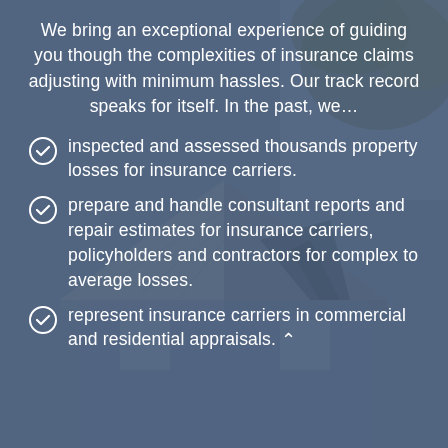We bring an exceptional experience of guiding you though the complexities of insurance claims adjusting with minimum hassles. Our track record speaks for itself. In the past, we…
inspected and assessed thousands property losses for insurance carriers.
prepare and handle consultant reports and repair estimates for insurance carriers, policyholders and contractors for complex to average losses.
represent insurance carriers in commercial and residential appraisals.